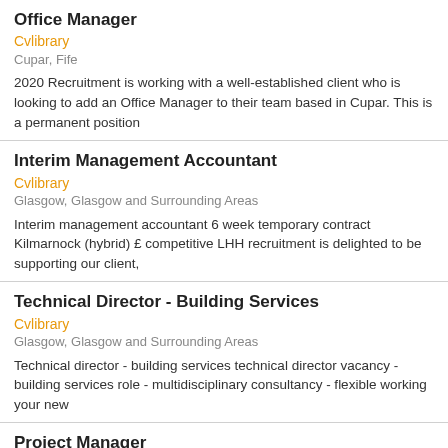Office Manager
Cvlibrary
Cupar, Fife
2020 Recruitment is working with a well-established client who is looking to add an Office Manager to their team based in Cupar. This is a permanent position
Interim Management Accountant
Cvlibrary
Glasgow, Glasgow and Surrounding Areas
Interim management accountant 6 week temporary contract Kilmarnock (hybrid) £ competitive LHH recruitment is delighted to be supporting our client,
Technical Director - Building Services
Cvlibrary
Glasgow, Glasgow and Surrounding Areas
Technical director - building services technical director vacancy - building services role - multidisciplinary consultancy - flexible working your new
Project Manager
Cvlibrary
Scotland
Recruit4staff is proud to be representing their client, a leading manufacturing company in their search for a Project Manager to work throughout Scotland